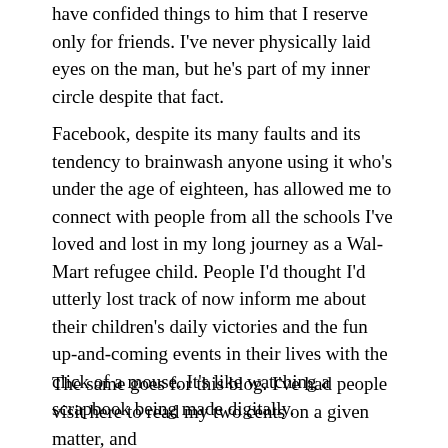have confided things to him that I reserve only for friends. I've never physically laid eyes on the man, but he's part of my inner circle despite that fact.
Facebook, despite its many faults and its tendency to brainwash anyone using it who's under the age of eighteen, has allowed me to connect with people from all the schools I've loved and lost in my long journey as a Wal-Mart refugee child. People I'd thought I'd utterly lost track of now inform me about their children's daily victories and the fun up-and-coming events in their lives with the click of a mouse. It's like watching a scrapbook being made digitally.
The same goes for this blog. I've had people visit here to read my two cents on a given matter, and